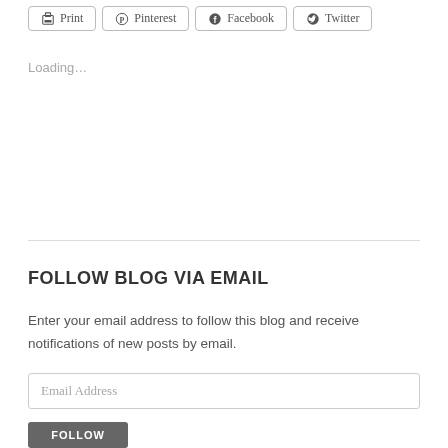Print | Pinterest | Facebook | Twitter
Loading...
FOLLOW BLOG VIA EMAIL
Enter your email address to follow this blog and receive notifications of new posts by email.
Email Address
FOLLOW